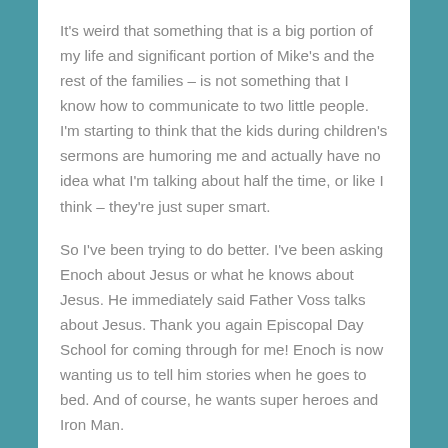It's weird that something that is a big portion of my life and significant portion of Mike's and the rest of the families – is not something that I know how to communicate to two little people.  I'm starting to think that the kids during children's sermons are humoring me and actually have no idea what I'm talking about half the time, or like I think – they're just super smart.
So I've been trying to do better.  I've been asking Enoch about Jesus or what he knows about Jesus.  He immediately said Father Voss talks about Jesus.  Thank you again Episcopal Day School for coming through for me!  Enoch is now wanting us to tell him stories when he goes to bed.  And of course, he wants super heroes and Iron Man.
So last night I'm telling him about super heroes like Iron